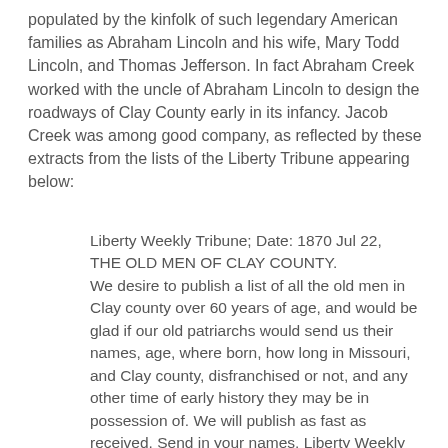populated by the kinfolk of such legendary American families as Abraham Lincoln and his wife, Mary Todd Lincoln, and Thomas Jefferson. In fact Abraham Creek worked with the uncle of Abraham Lincoln to design the roadways of Clay County early in its infancy. Jacob Creek was among good company, as reflected by these extracts from the lists of the Liberty Tribune appearing below:
Liberty Weekly Tribune; Date: 1870 Jul 22, THE OLD MEN OF CLAY COUNTY. We desire to publish a list of all the old men in Clay county over 60 years of age, and would be glad if our old patriarchs would send us their names, age, where born, how long in Missouri, and Clay county, disfranchised or not, and any other time of early history they may be in possession of. We will publish as fast as received. Send in your names. Liberty Weekly Tribune; Date: 1870 Jul 29, THE OLD MEN OF CLAY COUNTY. We last week requested every citizen in Clay